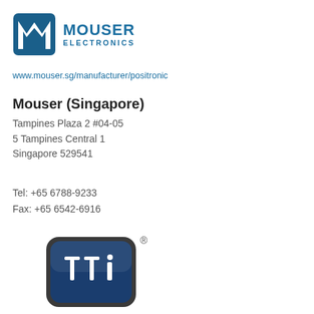[Figure (logo): Mouser Electronics logo with blue M icon and MOUSER ELECTRONICS text in blue]
www.mouser.sg/manufacturer/positronic
Mouser (Singapore)
Tampines Plaza 2 #04-05
5 Tampines Central 1
Singapore 529541
Tel: +65 6788-9233
Fax: +65 6542-6916
[Figure (logo): TTI logo: dark navy rounded rectangle with white tti letters and registered trademark symbol]